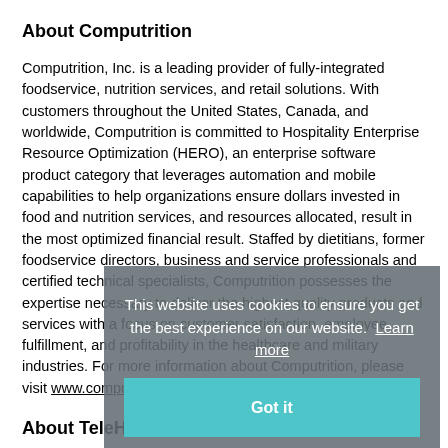About Computrition
Computrition, Inc. is a leading provider of fully-integrated foodservice, nutrition services, and retail solutions. With customers throughout the United States, Canada, and worldwide, Computrition is committed to Hospitality Enterprise Resource Optimization (HERO), an enterprise software product category that leverages automation and mobile capabilities to help organizations ensure dollars invested in food and nutrition services, and resources allocated, result in the most optimized financial result. Staffed by dietitians, former foodservice directors, business and service professionals and certified technical specialists, Computrition possesses the expertise necessary to deliver the highest quality products and services with a focus on customer satisfaction, employee fulfillment, and profitability in the healthcare and military industries. For more information about Computrition, please visit www.computrition.com.
About TeleHealth Services
TeleHealth Services is driven to enhance the patient experience and positively impact health outcomes across the continuum of care using innovative patient engagement and audiovisual technologies. With 60+ years of patient-centered expertise and 2,500+ healthcare